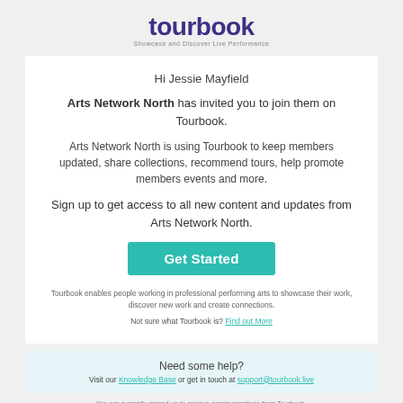[Figure (logo): Tourbook logo with tagline 'Showcase and Discover Live Performance']
Hi Jessie Mayfield
Arts Network North has invited you to join them on Tourbook.
Arts Network North is using Tourbook to keep members updated, share collections, recommend tours, help promote members events and more.
Sign up to get access to all new content and updates from Arts Network North.
[Figure (other): Get Started button (teal)]
Tourbook enables people working in professional performing arts to showcase their work, discover new work and create connections.
Not sure what Tourbook is? Find out More
Need some help?
Visit our Knowledge Base or get in touch at support@tourbook.live
You are currently signed up to receive communications from Tourbook.